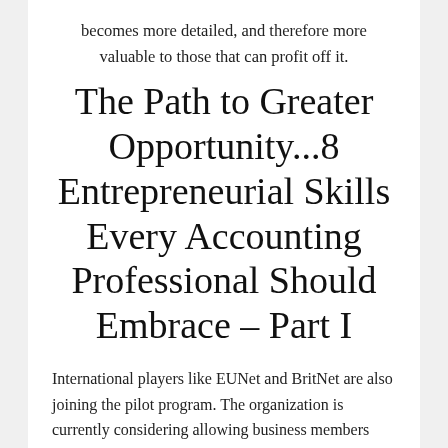becomes more detailed, and therefore more valuable to those that can profit off it.
The Path to Greater Opportunity...8 Entrepreneurial Skills Every Accounting Professional Should Embrace – Part I
International players like EUNet and BritNet are also joining the pilot program. The organization is currently considering allowing business members